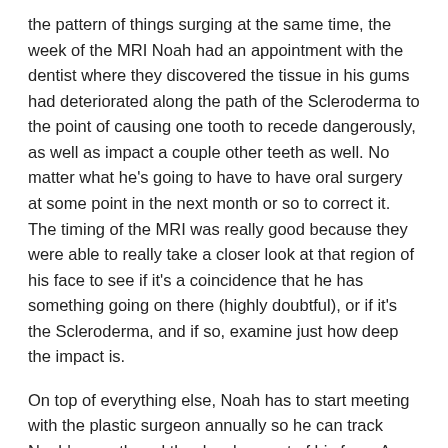the pattern of things surging at the same time, the week of the MRI Noah had an appointment with the dentist where they discovered the tissue in his gums had deteriorated along the path of the Scleroderma to the point of causing one tooth to recede dangerously, as well as impact a couple other teeth as well. No matter what he's going to have to have oral surgery at some point in the next month or so to correct it. The timing of the MRI was really good because they were able to really take a closer look at that region of his face to see if it's a coincidence that he has something going on there (highly doubtful), or if it's the Scleroderma, and if so, examine just how deep the impact is.
On top of everything else, Noah has to start meeting with the plastic surgeon annually so he can track Noah's growth and the development of his face. As